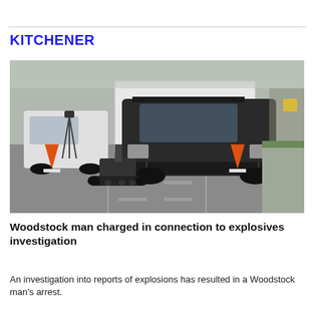KITCHENER
[Figure (photo): A dark-colored police or tactical SUV with a roof rack is parked on a road. In the foreground is a bomb disposal robot. Orange traffic cones and other vehicles are visible. The scene appears to be a law enforcement incident on a street.]
Woodstock man charged in connection to explosives investigation
An investigation into reports of explosions has resulted in a Woodstock man's arrest.